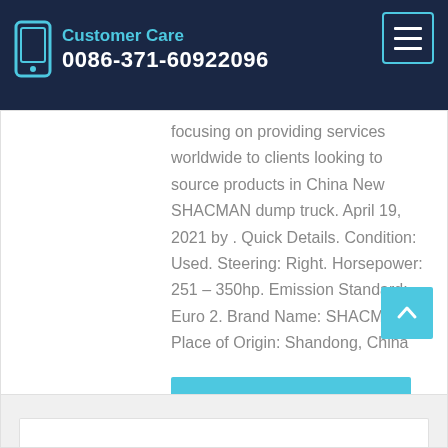Customer Care 0086-371-60922096
focusing on providing services worldwide to clients looking to source products in China New SHACMAN dump truck. April 19, 2021 by . Quick Details. Condition: Used. Steering: Right. Horsepower: 251 – 350hp. Emission Standard: Euro 2. Brand Name: SHACMAN. Place of Origin: Shandong, China
Learn More